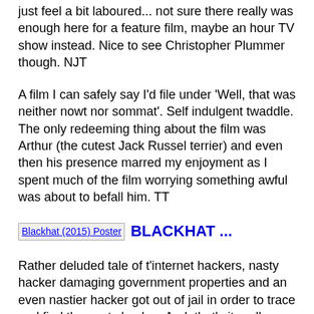just feel a bit laboured... not sure there really was enough here for a feature film, maybe an hour TV show instead. Nice to see Christopher Plummer though. NJT
A film I can safely say I'd file under 'Well, that was neither nowt nor sommat'. Self indulgent twaddle. The only redeeming thing about the film was Arthur (the cutest Jack Russel terrier) and even then his presence marred my enjoyment as I spent much of the film worrying something awful was about to befall him. TT
[Figure (other): Blackhat (2015) movie poster image link with bold blue title BLACKHAT ...]
Rather deluded tale of t'internet hackers, nasty hacker damaging government properties and an even nastier hacker got out of jail in order to trace and find the nasty hacker. And, that's it really...